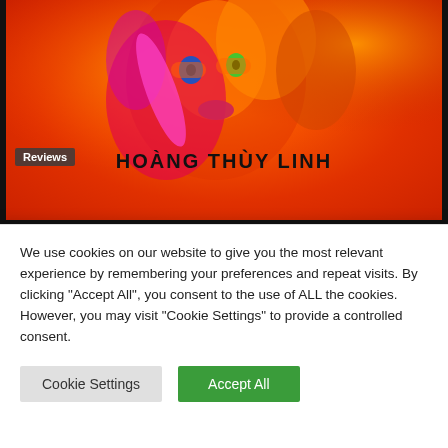[Figure (photo): Colorful album art for Hoang Thuy Linh with text 'HOANG THUY LINH' overlaid on a vibrant orange and multicolor abstract image of a person]
Reviews
Hoàng Thùy Linh: Hyperlink
August 18, 2022
Search
We use cookies on our website to give you the most relevant experience by remembering your preferences and repeat visits. By clicking "Accept All", you consent to the use of ALL the cookies. However, you may visit "Cookie Settings" to provide a controlled consent.